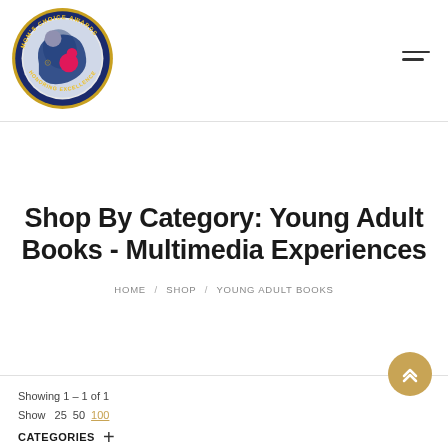[Figure (logo): Mom's Choice Awards circular logo with blue border, gold text reading MOM'S CHOICE AWARDS HONORING EXCELLENCE, featuring stylized mother and child figures in blue, pink, and grey]
Shop By Category: Young Adult Books - Multimedia Experiences
HOME / SHOP / YOUNG ADULT BOOKS
Showing 1 – 1 of 1
Show 25 50 100
CATEGORIES +